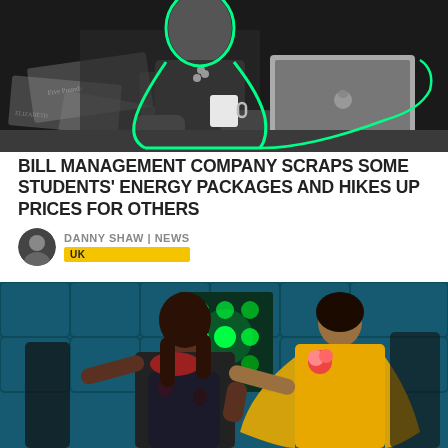[Figure (photo): Black and white photo of a person sitting at a desk with a laptop and coffee mug, surrounded by banknotes. The person is outlined with a bright green neon border.]
BILL MANAGEMENT COMPANY SCRAPS SOME STUDENTS' ENERGY PACKAGES AND HIKES UP PRICES FOR OTHERS
DANNY SHAW | NEWS
UK
[Figure (photo): Color photo of two performers on a brightly lit stage with green LED backdrop. One wears a black floral dress, the other wears a yellow outfit. They appear to be on a TV show stage.]